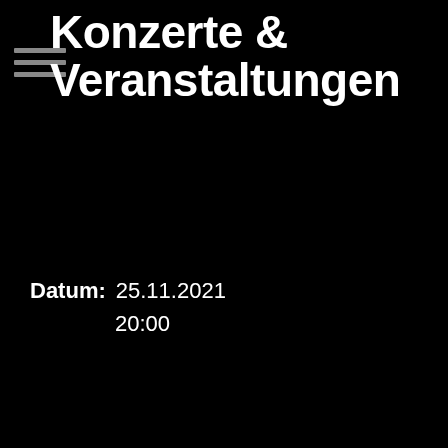Konzerte & Veranstaltungen
Datum: 25.11.2021
20:00